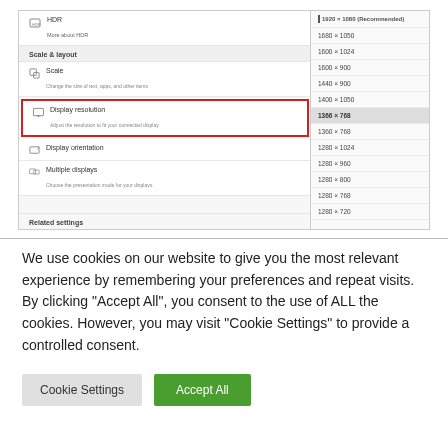[Figure (screenshot): Windows Display Settings screenshot showing HDR, Scale & layout section with Scale and Display resolution settings (highlighted with red border), Display orientation, and Multiple displays options on the left. On the right, a resolution dropdown list showing options from 1920×1080 (Recommended) down to 1280×720, with 1366×768 currently selected/highlighted. Related settings label visible at bottom.]
We use cookies on our website to give you the most relevant experience by remembering your preferences and repeat visits. By clicking "Accept All", you consent to the use of ALL the cookies. However, you may visit "Cookie Settings" to provide a controlled consent.
Cookie Settings
Accept All